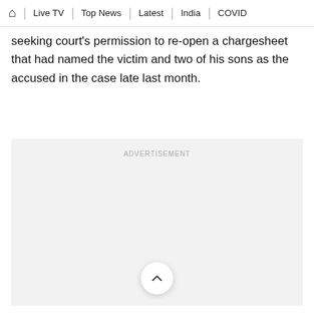🏠 | Live TV | Top News | Latest | India | COVID
seeking court's permission to re-open a chargesheet that had named the victim and two of his sons as the accused in the case late last month.
[Figure (other): Advertisement placeholder box with light gray background and 'ADVERTISEMENT' label text centered near top, with a scroll-up button (chevron up icon in white circle) at bottom center.]